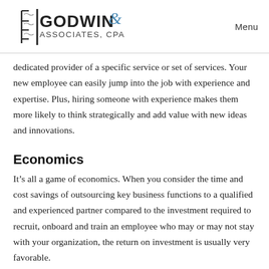[Figure (logo): Godwin & Associates CPA logo with stylized bracket/ledger graphic on left and text 'GODWIN & ASSOCIATES, CPA' on right]
Menu
dedicated provider of a specific service or set of services. Your new employee can easily jump into the job with experience and expertise. Plus, hiring someone with experience makes them more likely to think strategically and add value with new ideas and innovations.
Economics
It’s all a game of economics. When you consider the time and cost savings of outsourcing key business functions to a qualified and experienced partner compared to the investment required to recruit, onboard and train an employee who may or may not stay with your organization, the return on investment is usually very favorable.